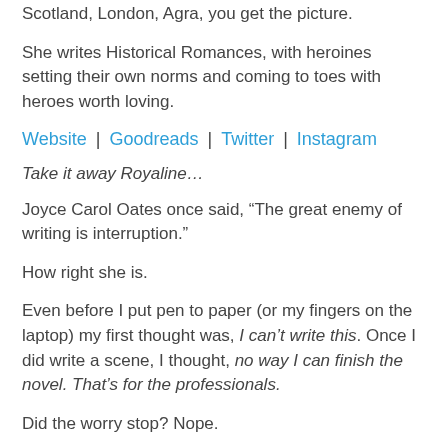Scotland, London, Agra, you get the picture.
She writes Historical Romances, with heroines setting their own norms and coming to toes with heroes worth loving.
Website | Goodreads | Twitter | Instagram
Take it away Royaline…
Joyce Carol Oates once said, “The great enemy of writing is interruption.”
How right she is.
Even before I put pen to paper (or my fingers on the laptop) my first thought was, I can’t write this. Once I did write a scene, I thought, no way I can finish the novel. That’s for the professionals.
Did the worry stop? Nope.
No way I can show this to anyone. Who would read it?